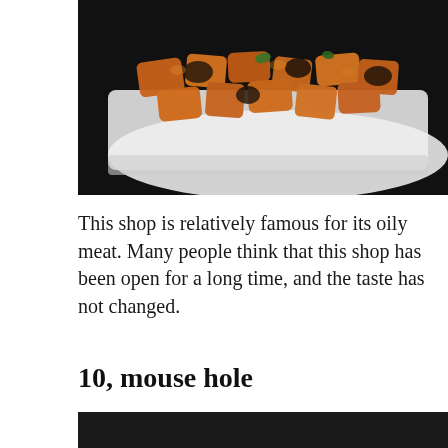[Figure (photo): Close-up photo of a dish of oily meat pieces (likely braised/stir-fried pork) on a white plate, set against a dark background.]
This shop is relatively famous for its oily meat. Many people think that this shop has been open for a long time, and the taste has not changed.
10, mouse hole
[Figure (photo): Photo of a traditional Chinese-style restaurant or shop front with decorative red and black eaves, gold Chinese characters, lanterns, and ornate architecture against a modern building background.]